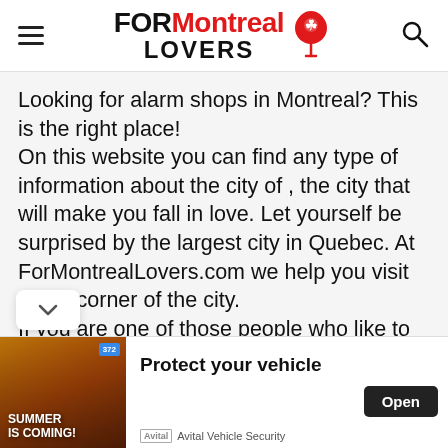FORMontreal LOVERS
Looking for alarm shops in Montreal? This is the right place!
On this website you can find any type of information about the city of , the city that will make you fall in love. Let yourself be surprised by the largest city in Quebec. At ForMontrealLovers.com we help you visit every corner of the city.
If you are one of those people who like to organize their trips in advance and want to have everything perfect, you the right place, here you will find; The best
[Figure (screenshot): Advertisement banner for Avital Vehicle Security. Shows a summer city street image on the left with text 'SUMMER IS COMING!', then 'Protect your vehicle' text and an 'Open' button on the right. Avital Vehicle Security branding at bottom.]